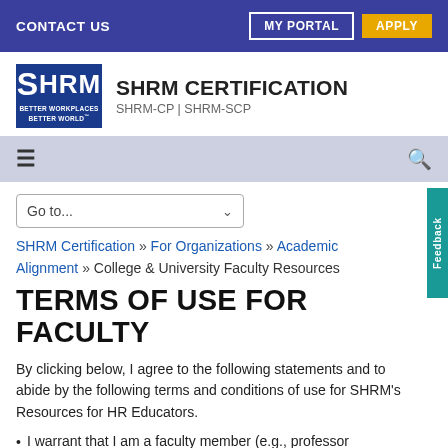CONTACT US | MY PORTAL | APPLY
[Figure (logo): SHRM logo with 'BETTER WORKPLACES BETTER WORLD' text, alongside 'SHRM CERTIFICATION / SHRM-CP | SHRM-SCP' text]
≡   🔍
Go to...
SHRM Certification » For Organizations » Academic Alignment » College & University Faculty Resources
TERMS OF USE FOR FACULTY
By clicking below, I agree to the following statements and to abide by the following terms and conditions of use for SHRM's Resources for HR Educators.
I warrant that I am a faculty member (e.g., professor...